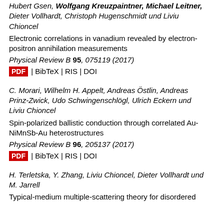Hubert Gsen, Wolfgang Kreuzpaintner, Michael Leitner, Dieter Vollhardt, Christoph Hugenschmidt und Liviu Chioncel
Electronic correlations in vanadium revealed by electron-positron annihilation measurements
Physical Review B 95, 075119 (2017)
PDF | BibTeX | RIS | DOI
C. Morari, Wilhelm H. Appelt, Andreas Östlin, Andreas Prinz-Zwick, Udo Schwingenschlögl, Ulrich Eckern und Liviu Chioncel
Spin-polarized ballistic conduction through correlated Au-NiMnSb-Au heterostructures
Physical Review B 96, 205137 (2017)
PDF | BibTeX | RIS | DOI
H. Terletska, Y. Zhang, Liviu Chioncel, Dieter Vollhardt und M. Jarrell
Typical-medium multiple-scattering theory for disordered